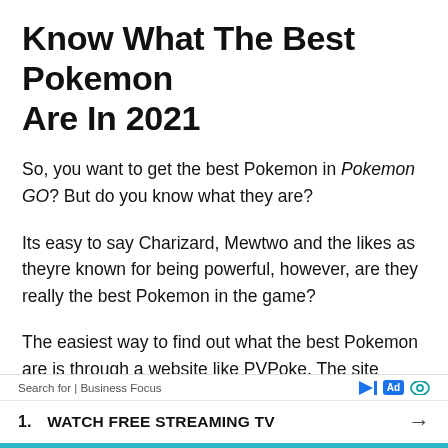Know What The Best Pokemon Are In 2021
So, you want to get the best Pokemon in Pokemon GO? But do you know what they are?
Its easy to say Charizard, Mewtwo and the likes as theyre known for being powerful, however, are they really the best Pokemon in the game?
The easiest way to find out what the best Pokemon are is through a website like PVPoke. The site ranks all Pokemon across the games many different PVP leagues to comprehensively list which monsters you should be aiming to get
Search for | Business Focus  [Ad] 1. WATCH FREE STREAMING TV →